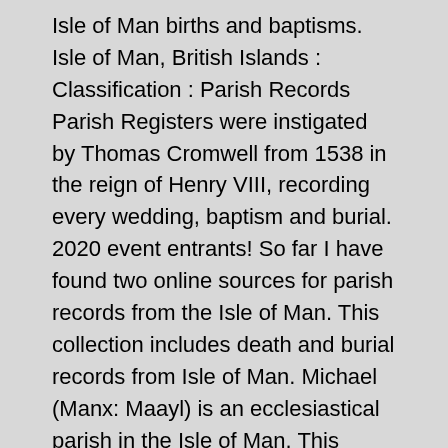Isle of Man births and baptisms. Isle of Man, British Islands : Classification : Parish Records Parish Registers were instigated by Thomas Cromwell from 1538 in the reign of Henry VIII, recording every wedding, baptism and burial. 2020 event entrants! So far I have found two online sources for parish records from the Isle of Man. This collection includes death and burial records from Isle of Man. Michael (Manx: Maayl) is an ecclesiastical parish in the Isle of Man. This collection includes birth and baptism records from Isle of Man. Isle of Man. Web: Isle of Man, Marriage Index, 1606-1984. 885,544 records. IGI Batch Numbers for Isle Of Man, England. Join the community of family history enthusiasts and FamilySearch employees to ask questions and discuss potential product enhancements. The information is transcribed - no images and appears to overlap in part information previously available on FamilySearch. The Church of Jesus Christ of Latter-day